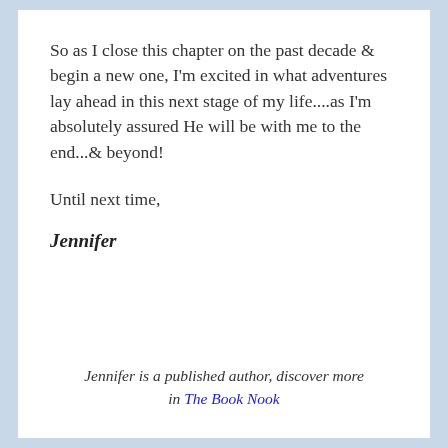So as I close this chapter on the past decade & begin a new one, I'm excited in what adventures lay ahead in this next stage of my life....as I'm absolutely assured He will be with me to the end...& beyond!
Until next time,
Jennifer
Jennifer is a published author, discover more in The Book Nook